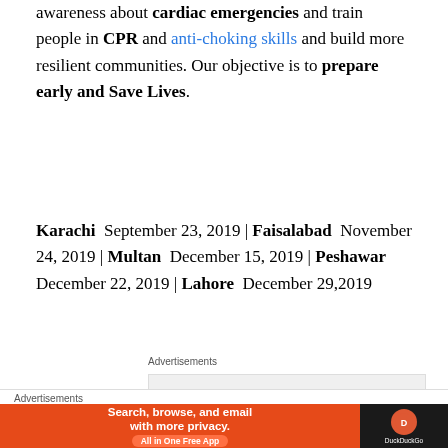awareness about cardiac emergencies and train people in CPR and anti-choking skills and build more resilient communities. Our objective is to prepare early and Save Lives.
Karachi September 23, 2019 | Faisalabad November 24, 2019 | Multan December 15, 2019 | Peshawar December 22, 2019 | Lahore December 29,2019
[Figure (other): Advertisement banner for P2 with text: Getting your team on the same page is easy. And free.]
[Figure (other): Partially visible red FA|CA| logo at bottom right]
[Figure (other): Advertisement banner for DuckDuckGo: Search, browse, and email with more privacy. All in One Free App]